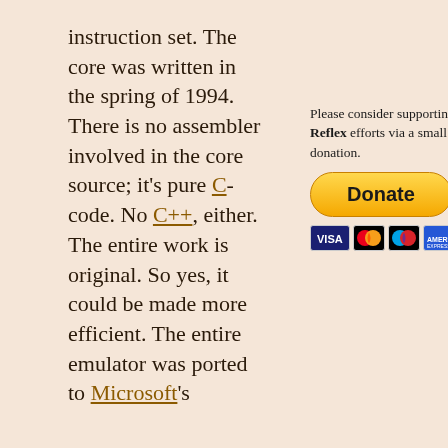instruction set. The core was written in the spring of 1994. There is no assembler involved in the core source; it's pure C-code. No C++, either. The entire work is original. So yes, it could be made more efficient. The entire emulator was ported to Microsoft's
[Figure (other): PayPal Donate button with payment card icons (Visa, Mastercard, Maestro, American Express, Discover, UnionPay) below it, preceded by text: Please consider supporting my Reflex efforts via a small PayPal donation.]